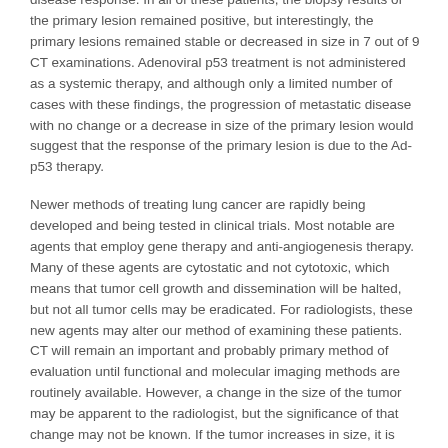disease response. In all of these patients, the biopsy results of the primary lesion remained positive, but interestingly, the primary lesions remained stable or decreased in size in 7 out of 9 CT examinations. Adenoviral p53 treatment is not administered as a systemic therapy, and although only a limited number of cases with these findings, the progression of metastatic disease with no change or a decrease in size of the primary lesion would suggest that the response of the primary lesion is due to the Ad-p53 therapy.
Newer methods of treating lung cancer are rapidly being developed and being tested in clinical trials. Most notable are agents that employ gene therapy and anti-angiogenesis therapy. Many of these agents are cytostatic and not cytotoxic, which means that tumor cell growth and dissemination will be halted, but not all tumor cells may be eradicated. For radiologists, these new agents may alter our method of examining these patients. CT will remain an important and probably primary method of evaluation until functional and molecular imaging methods are routinely available. However, a change in the size of the tumor may be apparent to the radiologist, but the significance of that change may not be known. If the tumor increases in size, it is consistent with progressive disease. However,